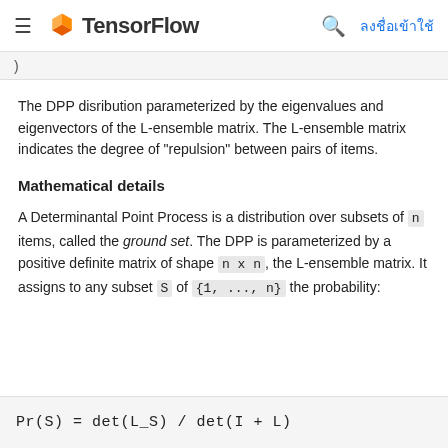TensorFlow | ลงชื่อเข้าใช้
)
The DPP disribution parameterized by the eigenvalues and eigenvectors of the L-ensemble matrix. The L-ensemble matrix indicates the degree of "repulsion" between pairs of items.
Mathematical details
A Determinantal Point Process is a distribution over subsets of n items, called the ground set. The DPP is parameterized by a positive definite matrix of shape n x n , the L-ensemble matrix. It assigns to any subset S of {1, ..., n} the probability: